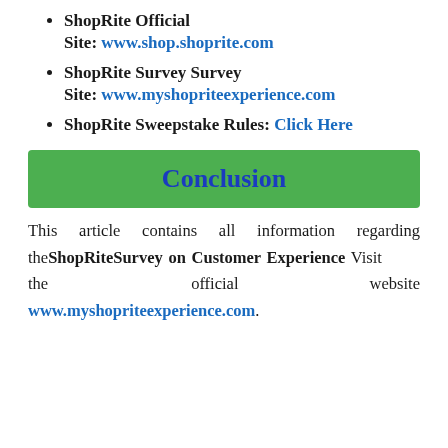ShopRite Official Site: www.shop.shoprite.com
ShopRite Survey Survey Site: www.myshopriteexperience.com
ShopRite Sweepstake Rules: Click Here
Conclusion
This article contains all information regarding the ShopRiteSurvey on Customer Experience Visit the official website www.myshopriteexperience.com.